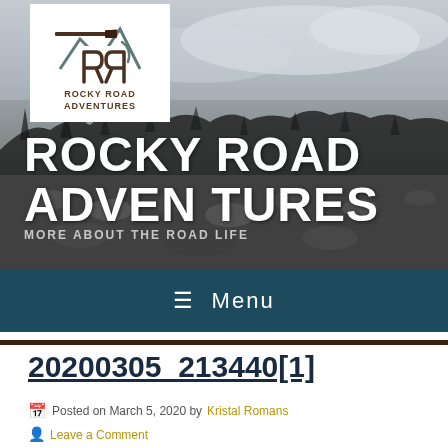[Figure (photo): Black and white landscape photo with rocky ground and sparse vegetation, used as the header banner for Rocky Road Adventures blog. A white logo box in the top-left contains the Rocky Road Adventures logo.]
ROCKY ROAD ADVENTURES
MORE ABOUT THE ROAD LIFE
☰  Menu
20200305_213440[1]
Posted on March 5, 2020 by Kristal Romans
Leave a Comment